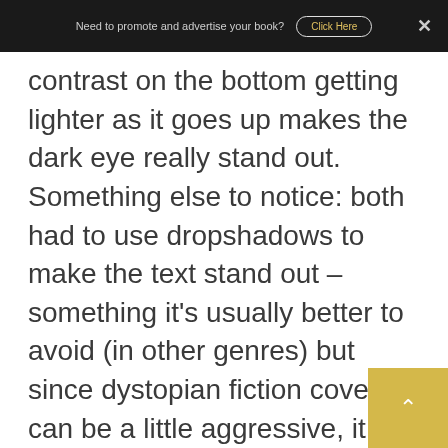Need to promote and advertise your book? Click Here
contrast on the bottom getting lighter as it goes up makes the dark eye really stand out. Something else to notice: both had to use dropshadows to make the text stand out – something it's usually better to avoid (in other genres) but since dystopian fiction covers can be a little aggressive, it works here.
Allegiant really pops out with a heavy dropshadow (and metal gradient), and it also makes the